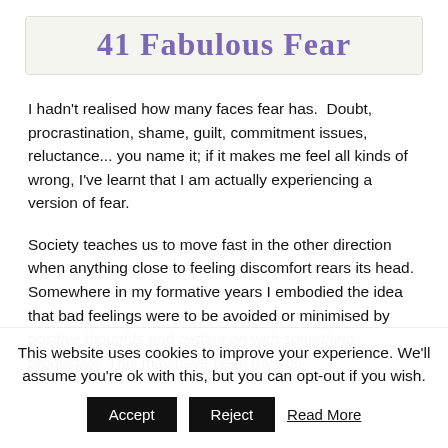41 Fabulous Fear
I hadn't realised how many faces fear has. Doubt, procrastination, shame, guilt, commitment issues, reluctance... you name it; if it makes me feel all kinds of wrong, I've learnt that I am actually experiencing a version of fear.
Society teaches us to move fast in the other direction when anything close to feeling discomfort rears its head. Somewhere in my formative years I embodied the idea that bad feelings were to be avoided or minimised by positive thoughts and getting on with something productive. This may have been my 70s
This website uses cookies to improve your experience. We'll assume you're ok with this, but you can opt-out if you wish.